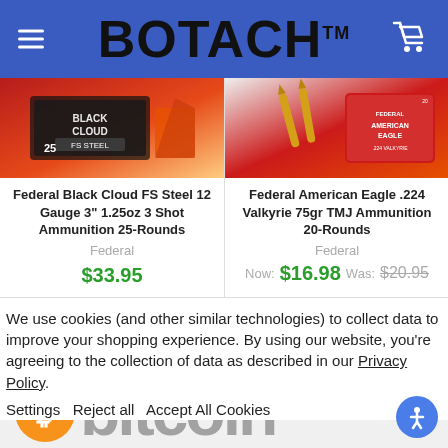BOTACH™
[Figure (photo): Federal Black Cloud FS Steel shotgun ammunition box, red and black packaging]
Federal Black Cloud FS Steel 12 Gauge 3" 1.25oz 3 Shot Ammunition 25-Rounds
Federal
$33.95
[Figure (photo): Federal American Eagle .224 Valkyrie bullets and red box packaging]
Federal American Eagle .224 Valkyrie 75gr TMJ Ammunition 20-Rounds
Federal
Now: $16.98  Was: $20.95
We use cookies (and other similar technologies) to collect data to improve your shopping experience. By using our website, you're agreeing to the collection of data as described in our Privacy Policy.
Settings   Reject all   Accept All Cookies